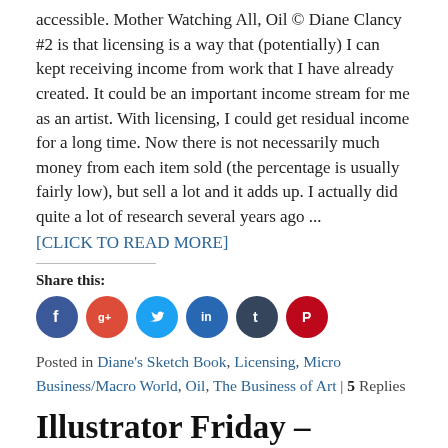accessible. Mother Watching All, Oil © Diane Clancy #2 is that licensing is a way that (potentially) I can kept receiving income from work that I have already created. It could be an important income stream for me as an artist. With licensing, I could get residual income for a long time. Now there is not necessarily much money from each item sold (the percentage is usually fairly low), but sell a lot and it adds up. I actually did quite a lot of research several years ago ...
[CLICK TO READ MORE]
Share this:
[Figure (infographic): Row of six social media icon circles: Facebook (dark blue), Google+ (red-orange), Twitter (light blue), LinkedIn (dark teal), Tumblr (dark blue-gray), Pinterest (red)]
Posted in Diane's Sketch Book, Licensing, Micro Business/Macro World, Oil, The Business of Art | 5 Replies
Illustrator Friday – Backwards